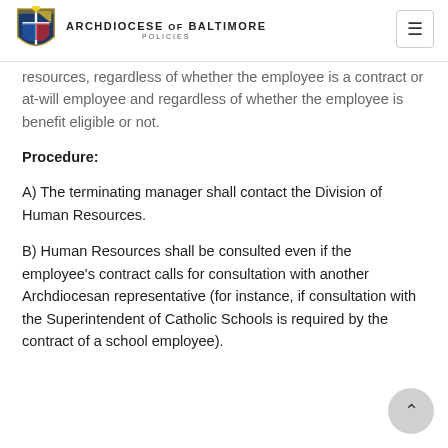ARCHDIOCESE of BALTIMORE POLICIES
resources, regardless of whether the employee is a contract or at-will employee and regardless of whether the employee is benefit eligible or not.
Procedure:
A) The terminating manager shall contact the Division of Human Resources.
B) Human Resources shall be consulted even if the employee's contract calls for consultation with another Archdiocesan representative (for instance, if consultation with the Superintendent of Catholic Schools is required by the contract of a school employee).